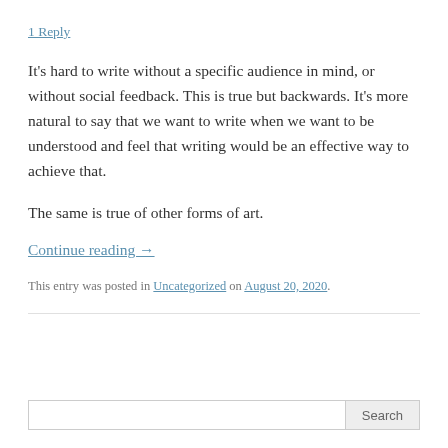1 Reply
It’s hard to write without a specific audience in mind, or without social feedback. This is true but backwards. It’s more natural to say that we want to write when we want to be understood and feel that writing would be an effective way to achieve that.
The same is true of other forms of art.
Continue reading →
This entry was posted in Uncategorized on August 20, 2020.
Search